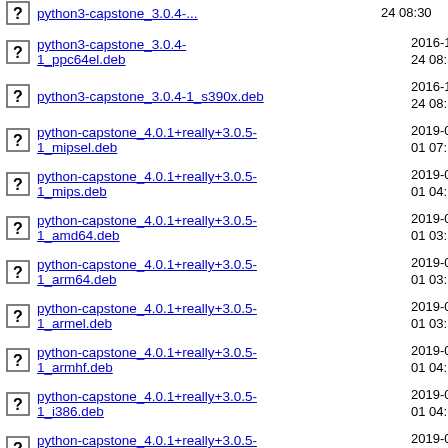python3-capstone_3.0.4-1_ppc64el.deb  2016-12-24 08:31  38K
python3-capstone_3.0.4-1_s390x.deb  2016-12-24 08:30  38K
python-capstone_4.0.1+really+3.0.5-1_mipsel.deb  2019-03-01 07:12  66K
python-capstone_4.0.1+really+3.0.5-1_mips.deb  2019-03-01 04:11  66K
python-capstone_4.0.1+really+3.0.5-1_amd64.deb  2019-03-01 03:15  66K
python-capstone_4.0.1+really+3.0.5-1_arm64.deb  2019-03-01 03:56  66K
python-capstone_4.0.1+really+3.0.5-1_armel.deb  2019-03-01 03:56  66K
python-capstone_4.0.1+really+3.0.5-1_armhf.deb  2019-03-01 04:11  66K
python-capstone_4.0.1+really+3.0.5-1_i386.deb  2019-03-01 04:11  66K
python-capstone_4.0.1+really+3.0.5-1_mips64el.deb  2019-03-01 04:11  66K
python-capstone_4.0.1+really+3.0.5-1_s390x.deb  2019-03-01 03:40  66K